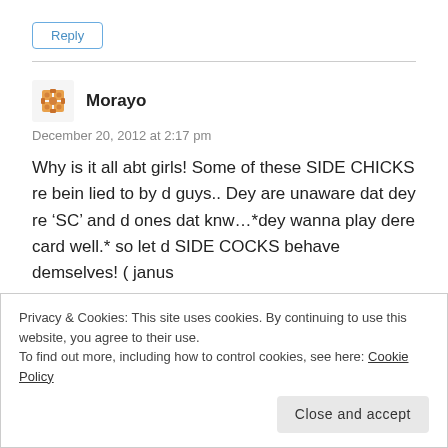Reply
Morayo
December 20, 2012 at 2:17 pm
Why is it all abt girls! Some of these SIDE CHICKS re bein lied to by d guys.. Dey are unaware dat dey re ‘SC’ and d ones dat knw...*dey wanna play dere card well.* so let d SIDE COCKS behave demselves! ( janus
Privacy & Cookies: This site uses cookies. By continuing to use this website, you agree to their use.
To find out more, including how to control cookies, see here: Cookie Policy
Close and accept